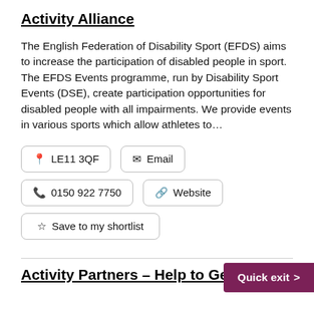Activity Alliance
The English Federation of Disability Sport (EFDS) aims to increase the participation of disabled people in sport. The EFDS Events programme, run by Disability Sport Events (DSE), create participation opportunities for disabled people with all impairments. We provide events in various sports which allow athletes to…
📍 LE11 3QF
✉ Email
📞 0150 922 7750
🔗 Website
☆ Save to my shortlist
Activity Partners – Help to Get Out